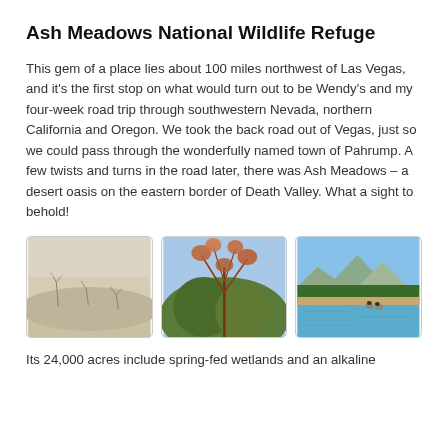Ash Meadows National Wildlife Refuge
This gem of a place lies about 100 miles northwest of Las Vegas, and it's the first stop on what would turn out to be Wendy's and my four-week road trip through southwestern Nevada, northern California and Oregon. We took the back road out of Vegas, just so we could pass through the wonderfully named town of Pahrump. A few twists and turns in the road later, there was Ash Meadows – a desert oasis on the eastern border of Death Valley. What a sight to behold!
[Figure (photo): Desert sand dunes with dry sparse vegetation, black and white / muted tones]
[Figure (photo): Close-up of reddish-brown desert shrub or tree with feathery branches against bright sky]
[Figure (photo): Blue water with sandy bank and green tree line and mountains in background, birds on rocks]
Its 24,000 acres include spring-fed wetlands and an alkaline